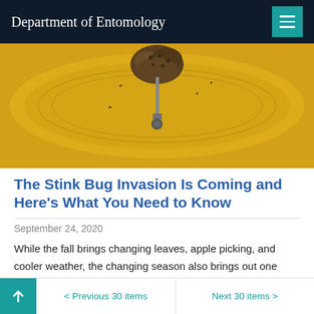Department of Entomology
[Figure (photo): Close-up photograph of a yellow insect trap with a mud/dirt nest attached to it, set against a yellow background]
The Stink Bug Invasion Is Coming and Here's What You Need to Know
September 24, 2020
While the fall brings changing leaves, apple picking, and cooler weather, the changing season also brings out one major nuisance that so many of us try to keep from our minds in the summer months: stink bugs.
< Previous 30 items   Next 30 items >